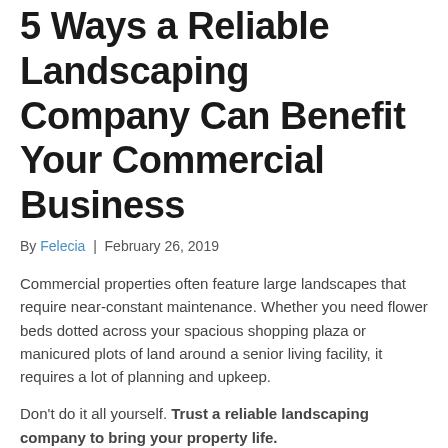5 Ways a Reliable Landscaping Company Can Benefit Your Commercial Business
By Felecia | February 26, 2019
Commercial properties often feature large landscapes that require near-constant maintenance. Whether you need flower beds dotted across your spacious shopping plaza or manicured plots of land around a senior living facility, it requires a lot of planning and upkeep.
Don't do it all yourself. Trust a reliable landscaping company to bring your property life.
Here are five ways the right contractors can benefit your business.
1. Some additional item beginning here...